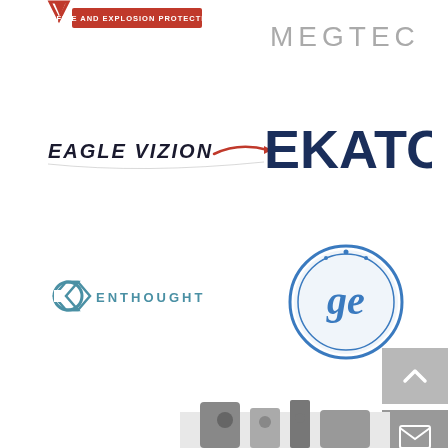[Figure (logo): Partial fire and explosion protection logo, top-left, red V-shape with red badge reading FIRE AND EXPLOSION PROTECTION]
[Figure (logo): MEGTEC logo in gray spaced uppercase letters, top-right]
[Figure (logo): Eagle Vizion logo in dark stylized text with red swoosh, middle-left]
[Figure (logo): EKATO logo in bold dark navy uppercase letters, middle-right]
[Figure (logo): Enthought logo with teal hexagon icon and teal spaced uppercase ENTHOUGHT text, lower-left]
[Figure (logo): GE General Electric circular blue logo with cursive GE monogram, lower-right]
[Figure (other): Gray scroll-to-top button with upward chevron arrow, far right]
[Figure (other): Gray email/envelope button, far right below scroll button]
[Figure (photo): Partial mechanical/industrial component image at bottom center]